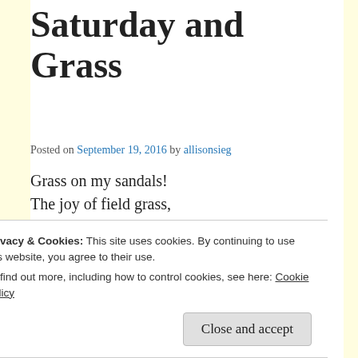Saturday and Grass
Posted on September 19, 2016 by allisonsieg
Grass on my sandals!
The joy of field grass,
Fine, hay-colored playing-field grass
That seemed like a life I'd left behind,
But, oh, I didn't!
Papery-brittle, inch-long,
Privacy & Cookies: This site uses cookies. By continuing to use this website, you agree to their use.
To find out more, including how to control cookies, see here: Cookie Policy
Close and accept
But for knees –